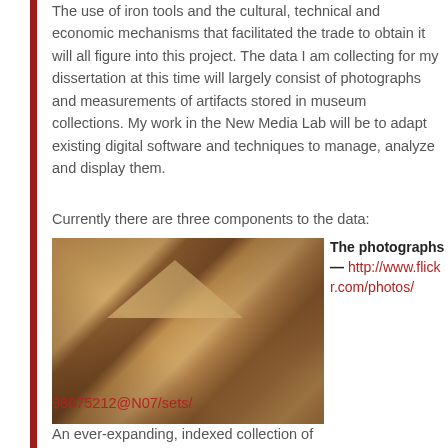The use of iron tools and the cultural, technical and economic mechanisms that facilitated the trade to obtain it will all figure into this project. The data I am collecting for my dissertation at this time will largely consist of photographs and measurements of artifacts stored in museum collections. My work in the New Media Lab will be to adapt existing digital software and techniques to manage, analyze and display them.
Currently there are three components to the data:
[Figure (photo): Close-up macro photograph of wooden or ceramic artifact surfaces showing geometric triangular patterns with cracks and dark markings on a brown/tan surface.]
The photographs — http://www.flickr.com/photos/98675212@N07/sets/
An ever-expanding, indexed collection of